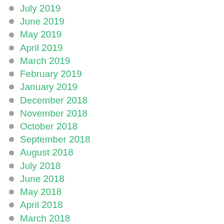July 2019
June 2019
May 2019
April 2019
March 2019
February 2019
January 2019
December 2018
November 2018
October 2018
September 2018
August 2018
July 2018
June 2018
May 2018
April 2018
March 2018
February 2018
January 2018
December 2017